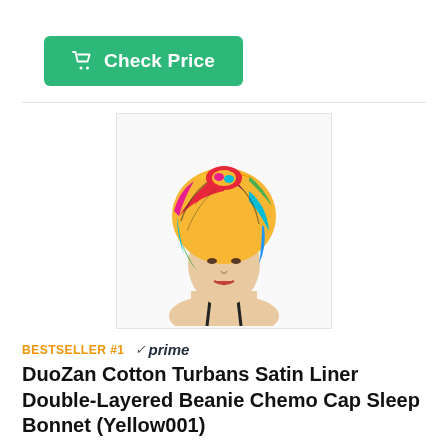[Figure (screenshot): Green 'Check Price' button with shopping cart icon]
[Figure (photo): Model wearing a colorful multicolored kente-print cotton turban head wrap against a white background]
BESTSELLER #1  ✓prime
DuoZan Cotton Turbans Satin Liner Double-Layered Beanie Chemo Cap Sleep Bonnet (Yellow001)
★★★½☆ (67)